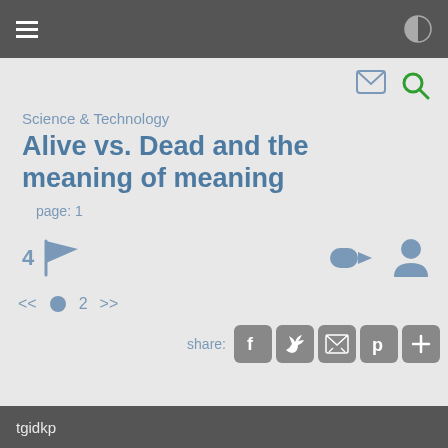≡  ◑
[Figure (screenshot): Email and search icons in top right]
Science & Technology
Alive vs. Dead and the meaning of meaning
page: 1
[Figure (infographic): 4 with flag icon on left; login arrow and user profile icon on right]
[Figure (infographic): Pagination: << bullet 2 >>]
[Figure (infographic): share: Facebook, Twitter, email, Pinterest, plus social share buttons]
tgidkp